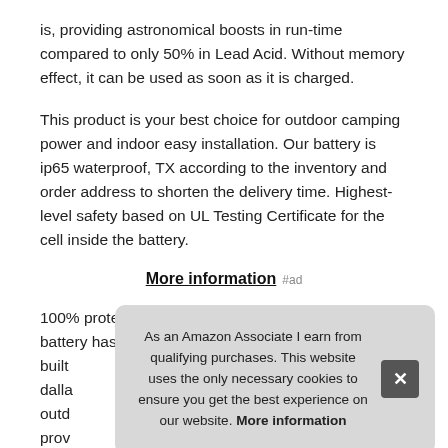is, providing astronomical boosts in run-time compared to only 50% in Lead Acid. Without memory effect, it can be used as soon as it is charged.
This product is your best choice for outdoor camping power and indoor easy installation. Our battery is ip65 waterproof, TX according to the inventory and order address to shorten the delivery time. Highest-level safety based on UL Testing Certificate for the cell inside the battery.
More information #ad
100% protection & deliveryampere time lifepo4 battery has built dalla outd prov com battery
As an Amazon Associate I earn from qualifying purchases. This website uses the only necessary cookies to ensure you get the best experience on our website. More information